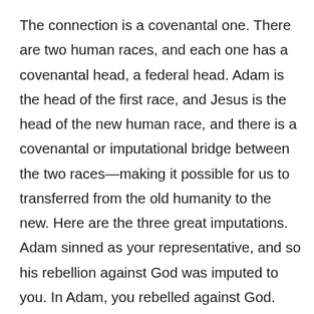The connection is a covenantal one. There are two human races, and each one has a covenantal head, a federal head. Adam is the head of the first race, and Jesus is the head of the new human race, and there is a covenantal or imputational bridge between the two races—making it possible for us to transferred from the old humanity to the new. Here are the three great imputations. Adam sinned as your representative, and so his rebellion against God was imputed to you. In Adam, you rebelled against God. God in His mercy caused that original sin (in which you participated through your representative) and all your individual sins, to be imputed to Jesus Christ on the cross (2 Cor. 5:21).